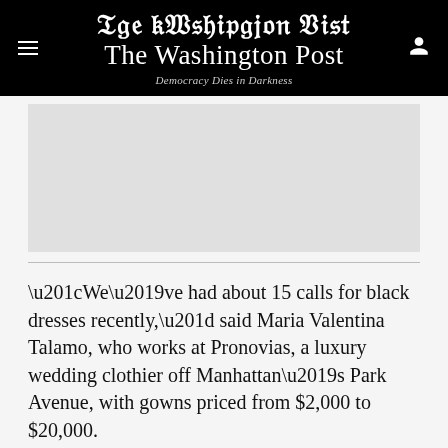The Washington Post — Democracy Dies in Darkness
[Figure (other): Advertisement placeholder box (gray rectangle)]
“We’ve had about 15 calls for black dresses recently,” said Maria Valentina Talamo, who works at Pronovias, a luxury wedding clothier off Manhattan’s Park Avenue, with gowns priced from $2,000 to $20,000.
The shift started with popular black dresses in 2020, she recalled.